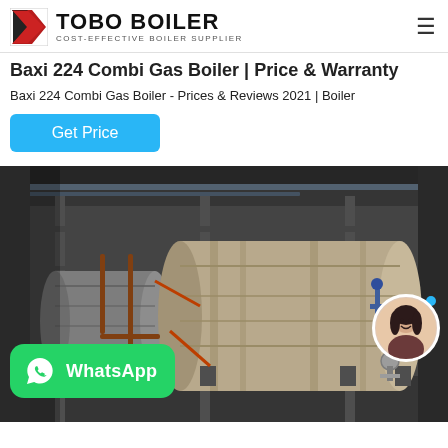TOBO BOILER | COST-EFFECTIVE BOILER SUPPLIER
Baxi 224 Combi Gas Boiler | Price & Warranty
Baxi 224 Combi Gas Boiler - Prices & Reviews 2021 | Boiler
Get Price
[Figure (photo): Large industrial gas boiler inside a factory building, showing two large cylindrical horizontal boilers on supports with pipes, valves, and structural steel framework. A WhatsApp badge overlay is at the bottom left. A customer service avatar appears at bottom right.]